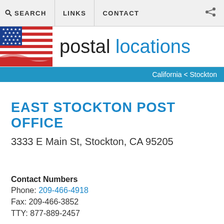SEARCH  LINKS  CONTACT
[Figure (logo): Postal Locations website logo with American flag image on left and 'postal locations' text on right]
California < Stockton
EAST STOCKTON POST OFFICE
3333 E Main St, Stockton, CA 95205
Contact Numbers
Phone: 209-466-4918
Fax: 209-466-3852
TTY: 877-889-2457